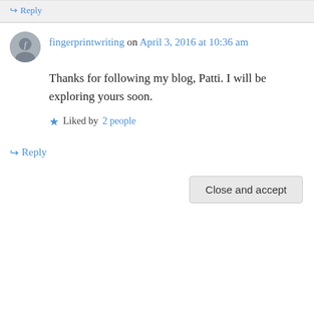↪ Reply
fingerprintwriting on April 3, 2016 at 10:36 am
Thanks for following my blog, Patti. I will be exploring yours soon.
Liked by 2 people
↪ Reply
Patti Clark on April 3, 2016 at 10:44 am
Privacy & Cookies: This site uses cookies. By continuing to use this website, you agree to their use.
To find out more, including how to control cookies, see here: Cookie Policy